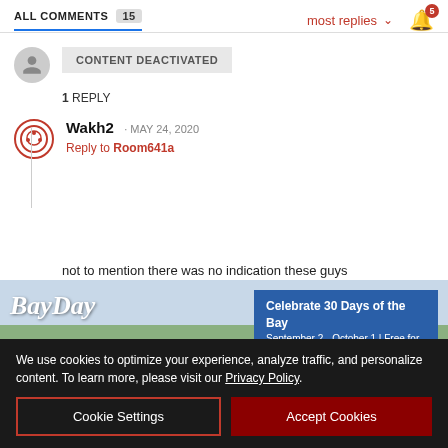ALL COMMENTS 15 | most replies ∨ 🔔5
CONTENT DEACTIVATED
1 REPLY
Wakh2 · MAY 24, 2020
Reply to Room641a
not to mention there was no indication these guys w... 't they m...
[Figure (photo): BayDay advertisement banner showing a kayaker on a bay/marsh waterway with text 'Celebrate 30 Days of the Bay, September 2 - October 1 | Free for Everyone']
FLAG
We use cookies to optimize your experience, analyze traffic, and personalize content. To learn more, please visit our Privacy Policy.
Cookie Settings
Accept Cookies